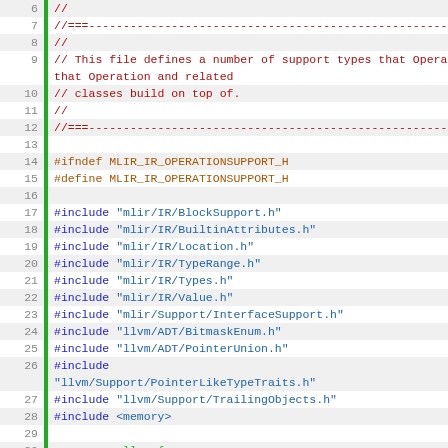Source code listing: OperationSupport.h lines 6-36
6  //
7  //===----...----===//
8  //
9  // This file defines a number of support types that Operation and related
10 // classes build on top of.
11 //
12 //===----...----===//
13 (blank)
14 #ifndef MLIR_IR_OPERATIONSUPPORT_H
15 #define MLIR_IR_OPERATIONSUPPORT_H
16 (blank)
17 #include "mlir/IR/BlockSupport.h"
18 #include "mlir/IR/BuiltinAttributes.h"
19 #include "mlir/IR/Location.h"
20 #include "mlir/IR/TypeRange.h"
21 #include "mlir/IR/Types.h"
22 #include "mlir/IR/Value.h"
23 #include "mlir/Support/InterfaceSupport.h"
24 #include "llvm/ADT/BitmaskEnum.h"
25 #include "llvm/ADT/PointerUnion.h"
26 #include "llvm/Support/PointerLikeTypeTraits.h"
27 #include "llvm/Support/TrailingObjects.h"
28 #include <memory>
29 (blank)
30 namespace llvm {
31 class BitVector;
32 } // namespace llvm
33 (blank)
34 namespace mlir {
35 class Dialect;
36 class DictionaryAttr;